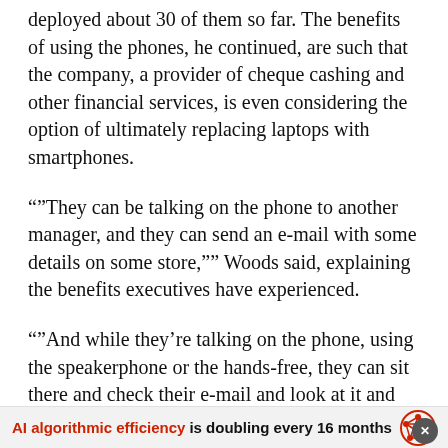deployed about 30 of them so far. The benefits of using the phones, he continued, are such that the company, a provider of cheque cashing and other financial services, is even considering the option of ultimately replacing laptops with smartphones.
""They can be talking on the phone to another manager, and they can send an e-mail with some details on some store,"" Woods said, explaining the benefits executives have experienced.
""And while they're talking on the phone, using the speakerphone or the hands-free, they can sit there and check their e-mail and look at it and discuss the message just received.""
AI algorithmic efficiency is doubling every 16 months